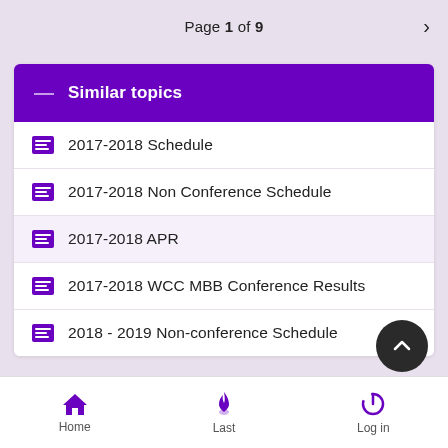Page 1 of 9
Similar topics
2017-2018 Schedule
2017-2018 Non Conference Schedule
2017-2018 APR
2017-2018 WCC MBB Conference Results
2018 - 2019 Non-conference Schedule
Home  Last  Log in